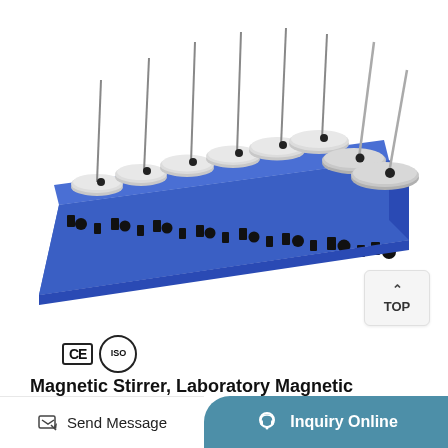[Figure (photo): Multi-position laboratory magnetic stirrer/mixer in blue color with 8 circular stir plates and individual control knobs and switches, with thin metal probes/thermometer holders inserted into each position.]
[Figure (logo): CE certification mark and ISO certification circular badge]
Magnetic Stirrer, Laboratory Magnetic Mixer, Stirrer Mixer Magnetic
Send Message
Inquiry Online